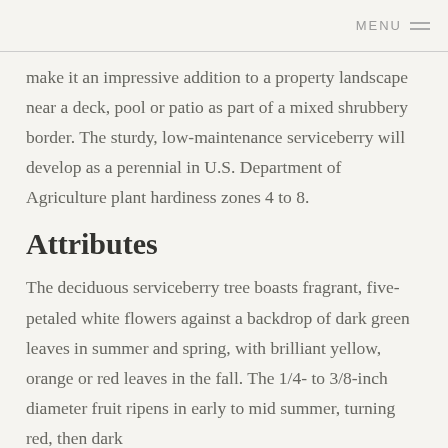MENU
make it an impressive addition to a property landscape near a deck, pool or patio as part of a mixed shrubbery border. The sturdy, low-maintenance serviceberry will develop as a perennial in U.S. Department of Agriculture plant hardiness zones 4 to 8.
Attributes
The deciduous serviceberry tree boasts fragrant, five-petaled white flowers against a backdrop of dark green leaves in summer and spring, with brilliant yellow, orange or red leaves in the fall. The 1/4- to 3/8-inch diameter fruit ripens in early to mid summer, turning red, then dark